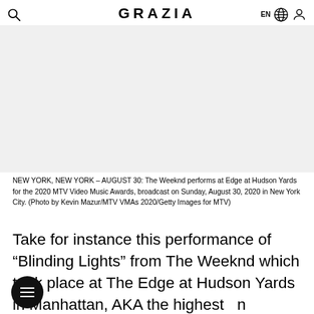GRAZIA
[Figure (photo): Large photograph of The Weeknd performing at Edge at Hudson Yards for the 2020 MTV VMAs — image area appears mostly white/blank in this cropped view]
NEW YORK, NEW YORK – AUGUST 30: The Weeknd performs at Edge at Hudson Yards for the 2020 MTV Video Music Awards, broadcast on Sunday, August 30, 2020 in New York City. (Photo by Kevin Mazur/MTV VMAs 2020/Getty Images for MTV)
Take for instance this performance of “Blinding Lights” from The Weeknd which took place at The Edge at Hudson Yards in Manhattan, AKA the highest outdoor Skydeck in the Western Hemisphere. The